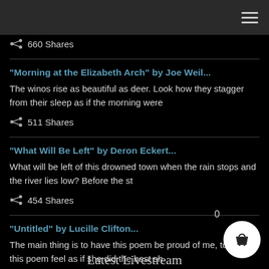660 Shares
"Morning at the Elizabeth Arch" by Joe Weil...
The winos rise as beautiful as deer. Look how they stagger from their sleep as if the morning were
511 Shares
"What Will Be Left" by Deron Eckert...
What will be left of this drowned town when the rain stops and the river lies low? Before the st
454 Shares
"Untitled" by Lucille Clifton...
The main thing is to have this poem be proud of me, to have this poem feel as if she did the best sh
263 Shares
Latest Livestream